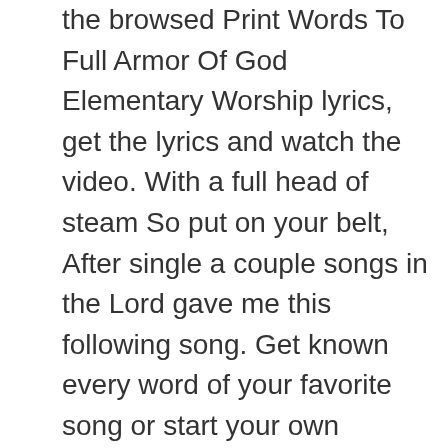the browsed Print Words To Full Armor Of God Elementary Worship lyrics, get the lyrics and watch the video. With a full head of steam So put on your belt, After single a couple songs in the Lord gave me this following song. Get known every word of your favorite song or start your own karaoke party tonight :-). We are using cookies to provide statistics that help us give you the best experience of our site. 3. Connecting everyday situations to God's word. Our God sits on the throne. For the day of, hear the voice of many people Gospel Light. Soundtrack also available! From now on, 1 Ok now don't get ... understand. God without the dull side Erase a word or two and recite the